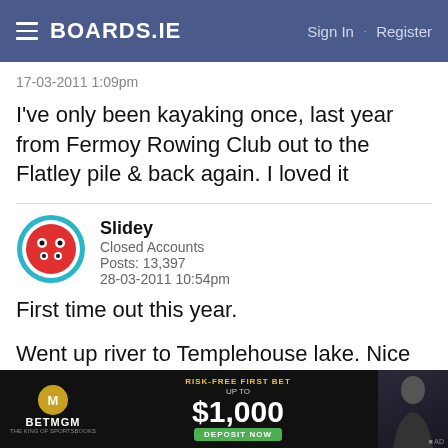BOARDS.IE  Sign In · Register
17-03-2011 1:09pm
I've only been kayaking once, last year from Fermoy Rowing Club out to the Flatley pile & back again. I loved it
Slidey
Closed Accounts
Posts: 13,397
28-03-2011 10:54pm
First time out this year.

Went up river to Templehouse lake. Nice view of Templehouse from the river.
[Figure (screenshot): BetMGM advertisement banner: Risk-Free First Bet Up To $1,000, Deposit Now button]